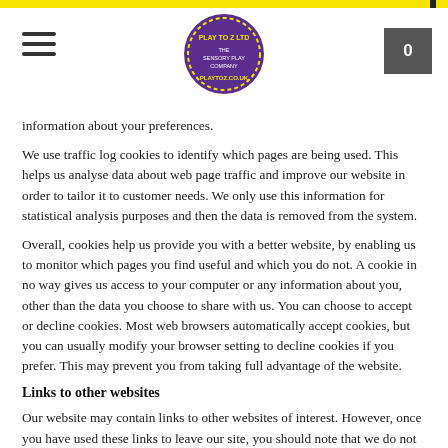Play to Z Ltd – The Sensory Play Company – playtoz.co.uk [navigation header]
information about your preferences.
We use traffic log cookies to identify which pages are being used. This helps us analyse data about web page traffic and improve our website in order to tailor it to customer needs. We only use this information for statistical analysis purposes and then the data is removed from the system.
Overall, cookies help us provide you with a better website, by enabling us to monitor which pages you find useful and which you do not. A cookie in no way gives us access to your computer or any information about you, other than the data you choose to share with us. You can choose to accept or decline cookies. Most web browsers automatically accept cookies, but you can usually modify your browser setting to decline cookies if you prefer. This may prevent you from taking full advantage of the website.
Links to other websites
Our website may contain links to other websites of interest. However, once you have used these links to leave our site, you should note that we do not have any control over that other website. Therefore, we cannot be responsible for the protection and privacy of any information which you provide whilst visiting such sites and such sites are not governed by this privacy statement. You should exercise caution and look at the privacy statement applicable to the website in question.